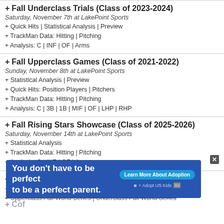+ Fall Underclass Trials (Class of 2023-2024)
Saturday, November 7th at LakePoint Sports
+ Quick Hits | Statistical Analysis | Preview
+ TrackMan Data: Hitting | Pitching
+ Analysis: C | INF | OF | Arms
+ Fall Upperclass Games (Class of 2021-2022)
Sunday, November 8th at LakePoint Sports
+ Statistical Analysis | Preview
+ Quick Hits: Position Players | Pitchers
+ TrackMan Data: Hitting | Pitching
+ Analysis: C | 3B | 1B | MIF | OF | LHP | RHP
+ Fall Rising Stars Showcase (Class of 2025-2026)
Saturday, November 14th at LakePoint Sports
+ Statistical Analysis
+ TrackMan Data: Hitting | Pitching
+ Analysis: C | INF | OF | Arms
+ LakePoint Fall Scout Blogs
+ LakePoint Fall Invite | PBR Cup | PBR Fall Classic
+ Upperclass Fall World Series | Underclass Fall World Series
[Figure (infographic): Blue advertisement banner: 'You don't have to be perfect to be a perfect parent.' with Learn More About Adoption button and Adopt US Kids logo]
+ Cof...